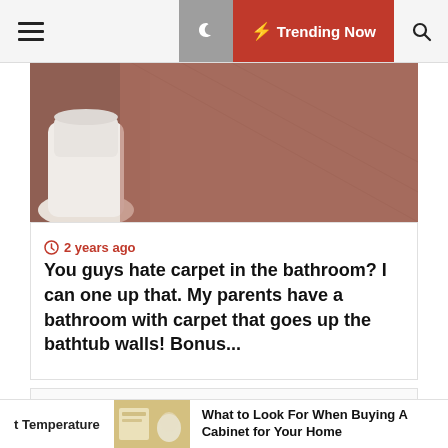≡  🌙  ⚡ Trending Now  🔍
[Figure (photo): Photo of a bathroom with carpet near a toilet base, brownish-red carpet texture visible]
⏱ 2 years ago
You guys hate carpet in the bathroom? I can one up that. My parents have a bathroom with carpet that goes up the bathtub walls! Bonus...
Search ...
Recent Posts
t Temperature
[Figure (photo): Thumbnail photo of a kitchen cabinet area]
What to Look For When Buying A Cabinet for Your Home